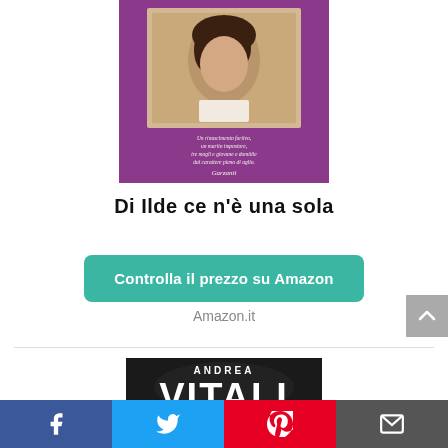[Figure (photo): Book cover of 'Di Ilde ce n'è una sola' — a vintage-style photo of a young woman on a purple background with italic Italian text and 'Garzanti' publisher imprint]
Di Ilde ce n'è una sola
Controlla il prezzo su Amazon
Amazon.it
[Figure (photo): Bottom portion of another book cover by Andrea Vitali — dark background with large white text 'ANDREA VITALI']